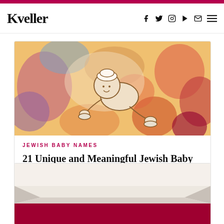Kveller
[Figure (illustration): Illustrated baby crawling on colorful watercolor background of abstract shapes in orange, red, purple and blue tones]
JEWISH BABY NAMES
21 Unique and Meaningful Jewish Baby Names
Maddy Albert
[Figure (photo): Interior room with cream crown molding against a deep crimson/burgundy red wall, white ceiling visible above]